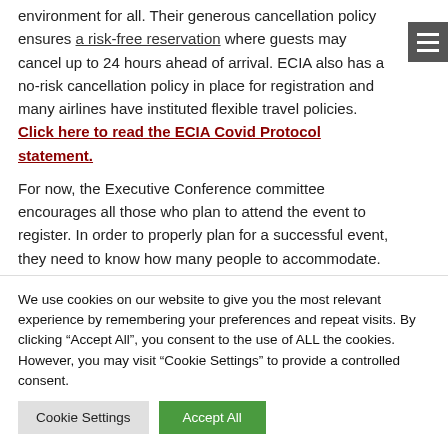environment for all. Their generous cancellation policy ensures a risk-free reservation where guests may cancel up to 24 hours ahead of arrival. ECIA also has a no-risk cancellation policy in place for registration and many airlines have instituted flexible travel policies. Click here to read the ECIA Covid Protocol statement.
For now, the Executive Conference committee encourages all those who plan to attend the event to register. In order to properly plan for a successful event, they need to know how many people to accommodate. The ECIA Board of Directors will make the final decision in mid-September
We use cookies on our website to give you the most relevant experience by remembering your preferences and repeat visits. By clicking "Accept All", you consent to the use of ALL the cookies. However, you may visit "Cookie Settings" to provide a controlled consent.